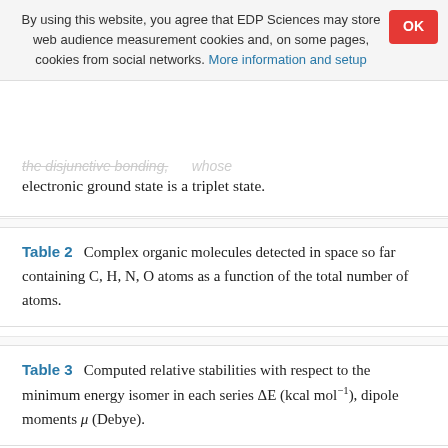By using this website, you agree that EDP Sciences may store web audience measurement cookies and, on some pages, cookies from social networks. More information and setup
electronic ground state is a triplet state.
Table 2   Complex organic molecules detected in space so far containing C, H, N, O atoms as a function of the total number of atoms.
Table 3   Computed relative stabilities with respect to the minimum energy isomer in each series ΔE (kcal mol⁻¹), dipole moments μ (Debye).